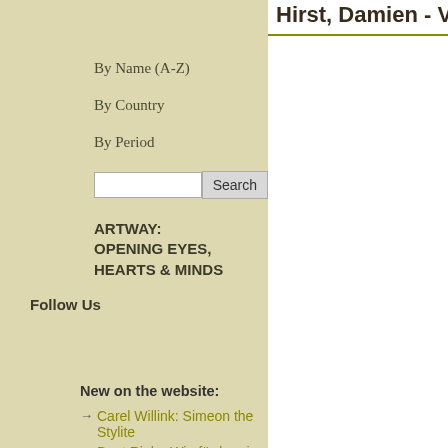By Name (A-Z)
By Country
By Period
Search
ARTWAY:
OPENING EYES,
HEARTS & MINDS
Follow Us
New on the website:
→ Carel Willink: Simeon the Stylite
→ Beat Rink - Wie fördern in den Kirchen gute Kunst?
→ Emmanuel Garibay: Prison Cell
→ Joseph Beuys: A Spiritual German Artist
Hirst, Damien - VM